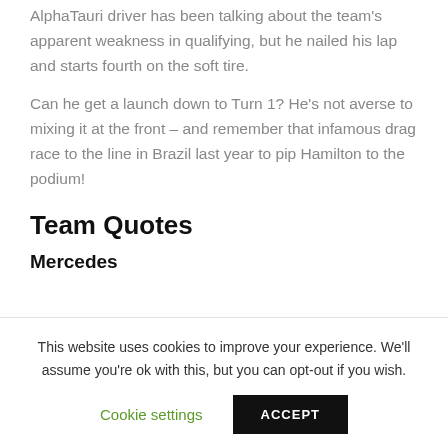AlphaTauri driver has been talking about the team's apparent weakness in qualifying, but he nailed his lap and starts fourth on the soft tire.
Can he get a launch down to Turn 1? He's not averse to mixing it at the front – and remember that infamous drag race to the line in Brazil last year to pip Hamilton to the podium!
Team Quotes
Mercedes
Valtteri Bottas
It's never easy to get pole position but I'm really
This website uses cookies to improve your experience. We'll assume you're ok with this, but you can opt-out if you wish.
Cookie settings
ACCEPT